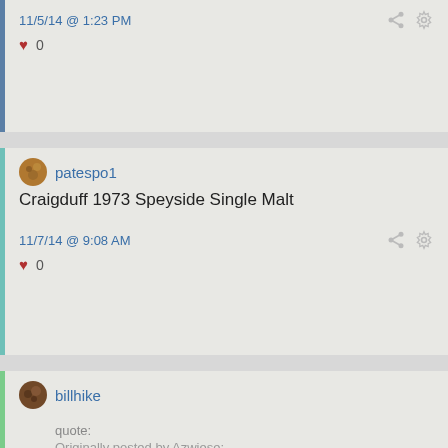11/5/14 @ 1:23 PM
♥ 0
patespo1
Craigduff 1973 Speyside Single Malt
11/7/14 @ 9:08 AM
♥ 0
billhike
quote:
Originally posted by Azwiese: